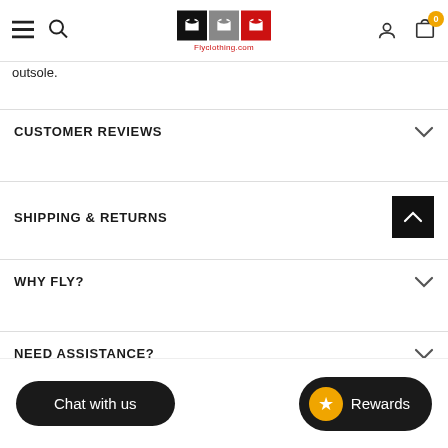Flyclothing.com navigation header with hamburger menu, search, logo, user icon, and cart
outsole.
CUSTOMER REVIEWS
SHIPPING & RETURNS
WHY FLY?
NEED ASSISTANCE?
Chat with us
Rewards